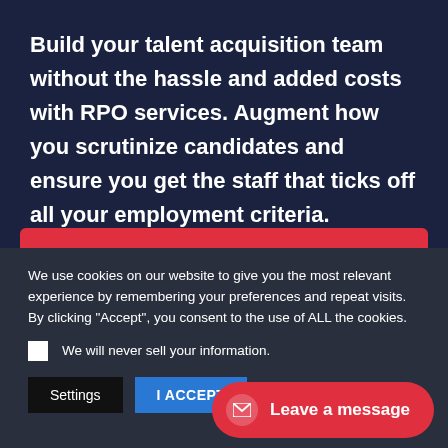Build your talent acquisition team without the hassle and added costs with RPO services. Augment how you scrutinize candidates and ensure you get the staff that ticks off all your employment criteria.
Efficient Scrutiny of Candidates Starts Here
We use cookies on our website to give you the most relevant experience by remembering your preferences and repeat visits. By clicking "Accept", you consent to the use of ALL the cookies.
We will never sell your information.
Settings
I ACCEPT
Leave a message